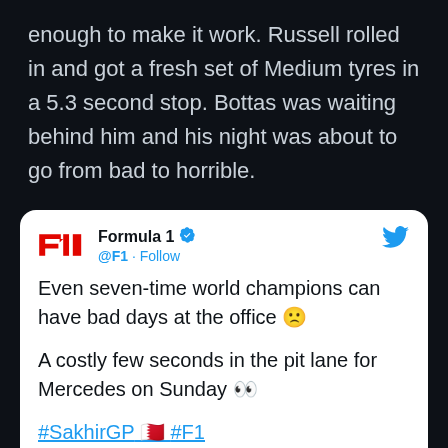enough to make it work. Russell rolled in and got a fresh set of Medium tyres in a 5.3 second stop. Bottas was waiting behind him and his night was about to go from bad to horrible.
[Figure (screenshot): Embedded tweet from Formula 1 (@F1) with verified badge and Twitter bird logo. Tweet text reads: 'Even seven-time world champions can have bad days at the office 🙁 A costly few seconds in the pit lane for Mercedes on Sunday 👀 #SakhirGP 🇧🇭 #F1'. Below the text is a video preview with 'Watch on Twitter' label.]